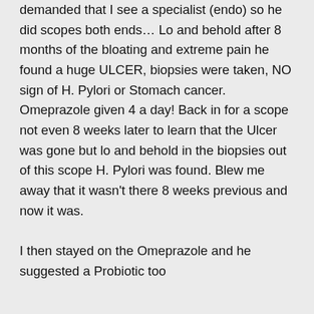demanded that I see a specialist (endo) so he did scopes both ends… Lo and behold after 8 months of the bloating and extreme pain he found a huge ULCER, biopsies were taken, NO sign of H. Pylori or Stomach cancer. Omeprazole given 4 a day! Back in for a scope not even 8 weeks later to learn that the Ulcer was gone but lo and behold in the biopsies out of this scope H. Pylori was found. Blew me away that it wasn't there 8 weeks previous and now it was.

I then stayed on the Omeprazole and he suggested a Probiotic too